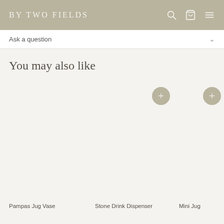BY TWO FIELDS
Ask a question
You may also like
Pampas Jug Vase
Stone Drink Dispenser
Mini Jug